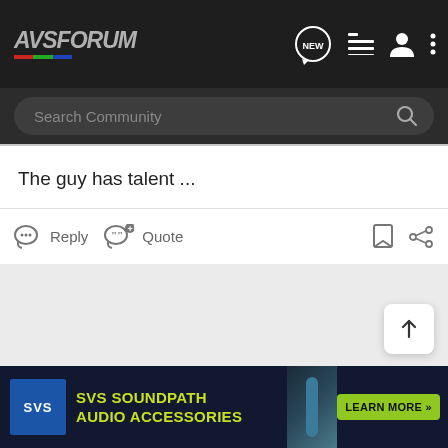[Figure (screenshot): AVS Forum navigation bar with logo, NEW button, list icon, user icon, and more options icon]
[Figure (screenshot): Search Community search bar with magnifying glass icon]
The guy has talent ...
[Figure (screenshot): Reply and Quote action buttons, bookmark and share icons]
[Figure (screenshot): Gray background section with scroll-to-top arrow button]
[Figure (screenshot): SVS SoundPath Audio Accessories advertisement banner with Learn More button]